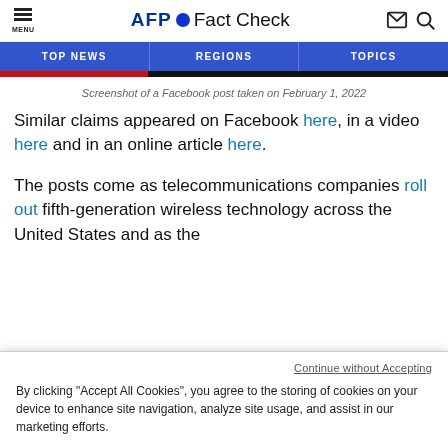AFP Fact Check
TOP NEWS | REGIONS | TOPICS
Screenshot of a Facebook post taken on February 1, 2022
Similar claims appeared on Facebook here, in a video here and in an online article here.
The posts come as telecommunications companies roll out fifth-generation wireless technology across the United States and as the
Continue without Accepting
By clicking “Accept All Cookies”, you agree to the storing of cookies on your device to enhance site navigation, analyze site usage, and assist in our marketing efforts.